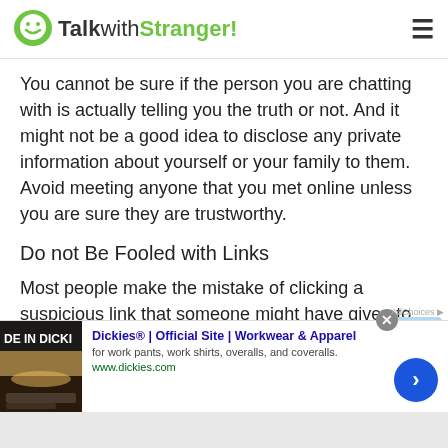TalkwithStranger!
You cannot be sure if the person you are chatting with is actually telling you the truth or not. And it might not be a good idea to disclose any private information about yourself or your family to them. Avoid meeting anyone that you met online unless you are sure they are trustworthy.
Do not Be Fooled with Links
Most people make the mistake of clicking a suspicious link that someone might have given to you. also learn to avoid opening any emails, or ads that you have received from
[Figure (screenshot): Advertisement banner for Dickies workwear. Shows 'Dickies® | Official Site | Workwear & Apparel' with description 'for work pants, work shirts, overalls, and coveralls.' and url 'www.dickies.com'. Includes a small product image on the left and navigation arrow on the right.]